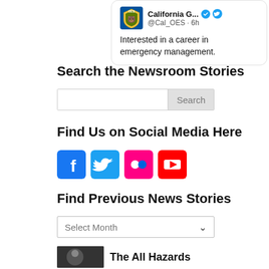[Figure (screenshot): Twitter/X card showing California G... (@Cal_OES · 6h) with OES logo, verified badge, and Twitter icon. Text: 'Interested in a career in emergency management.']
Search the Newsroom Stories
[Figure (screenshot): Search input box with 'Search' button on the right]
Find Us on Social Media Here
[Figure (screenshot): Social media icons: Facebook (blue), Twitter (blue), Flickr (pink/magenta), YouTube (red)]
Find Previous News Stories
[Figure (screenshot): Dropdown selector showing 'Select Month' with chevron arrow]
[Figure (screenshot): Bottom strip showing thumbnail image and 'The All Hazards' text beginning]